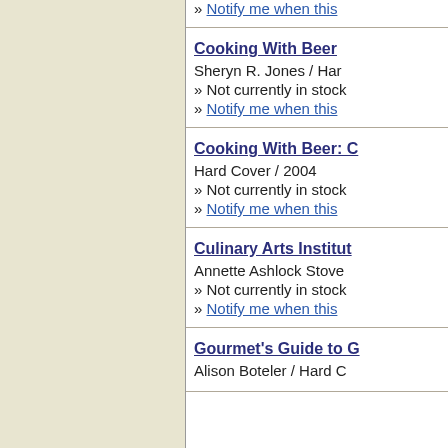» Notify me when this
Cooking With Beer
Sheryn R. Jones / Har
» Not currently in stock
» Notify me when this
Cooking With Beer: C
Hard Cover / 2004
» Not currently in stock
» Notify me when this
Culinary Arts Institut
Annette Ashlock Stove
» Not currently in stock
» Notify me when this
Gourmet's Guide to G
Alison Boteler / Hard C